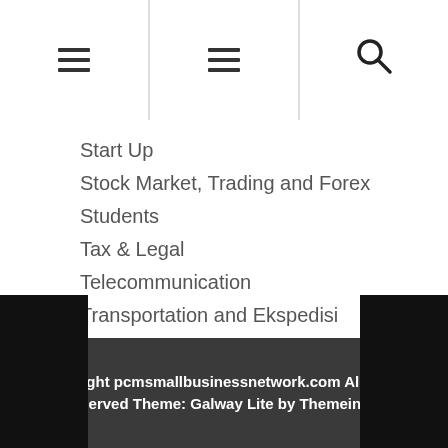Navigation header with hamburger menu icons and search icon
Start Up
Stock Market, Trading and Forex
Students
Tax & Legal
Telecommunication
Transportation and Ekspedisi
Travel Agent
Women's Committee
Copyright pcmsmallbusinessnetwork.com All rights reserved Theme: Galway Lite by Themeinwp